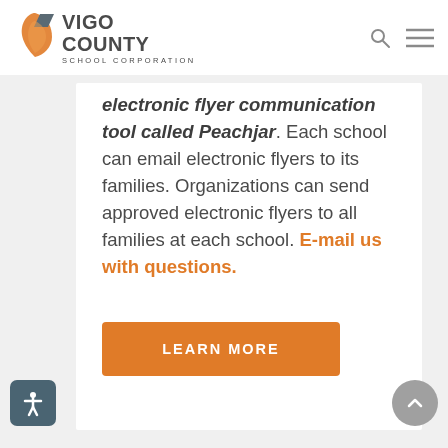[Figure (logo): Vigo County School Corporation logo with orange leaf and gray arrow graphic]
electronic flyer communication tool called Peachjar. Each school can email electronic flyers to its families. Organizations can send approved electronic flyers to all families at each school. E-mail us with questions.
LEARN MORE